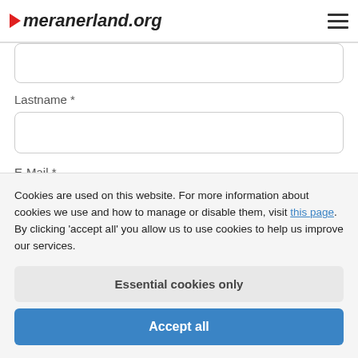meranerland.org
Lastname *
E-Mail *
Phone
Cookies are used on this website. For more information about cookies we use and how to manage or disable them, visit this page. By clicking 'accept all' you allow us to use cookies to help us improve our services.
Essential cookies only
Accept all